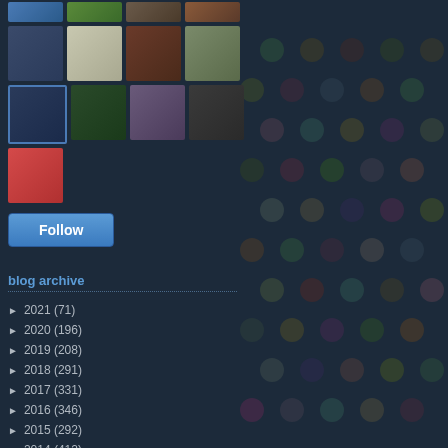[Figure (photo): Grid of avatar/profile images of blog followers, arranged in rows]
Follow
blog archive
► 2021 (71)
► 2020 (196)
► 2019 (208)
► 2018 (291)
► 2017 (331)
► 2016 (346)
► 2015 (292)
► 2014 (412)
► 2013 (417)
► 2012 (423)